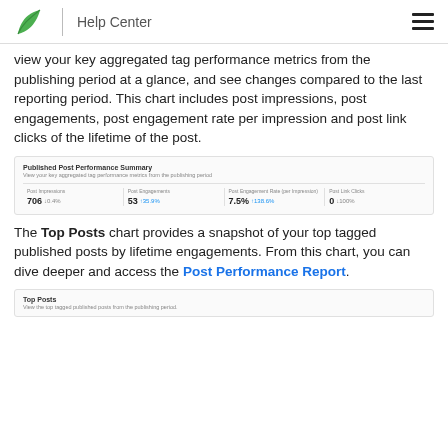Help Center
view your key aggregated tag performance metrics from the publishing period at a glance, and see changes compared to the last reporting period. This chart includes post impressions, post engagements, post engagement rate per impression and post link clicks of the lifetime of the post.
[Figure (screenshot): Published Post Performance Summary screenshot showing metrics: Post Impressions 706 down 0.4%, Post Engagements 53 up 35.9%, Post Engagement Rate (per Impression) 7.5% up 138.6%, Post Link Clicks 0 down 100%]
The Top Posts chart provides a snapshot of your top tagged published posts by lifetime engagements. From this chart, you can dive deeper and access the Post Performance Report.
[Figure (screenshot): Top Posts section header: 'Top Posts - View the top tagged published posts from the publishing period.']